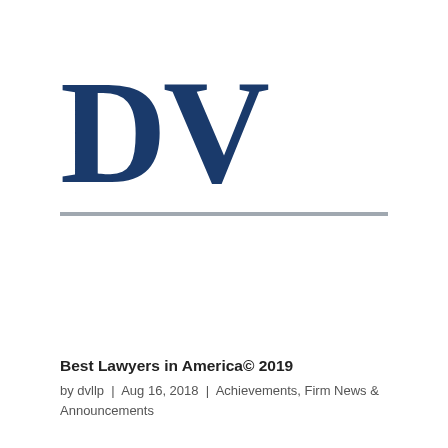[Figure (logo): DV law firm logo — large bold dark navy letters 'D' and 'V' in serif font, with a horizontal gray divider line below]
Best Lawyers in America© 2019
by dvllp | Aug 16, 2018 | Achievements, Firm News & Announcements